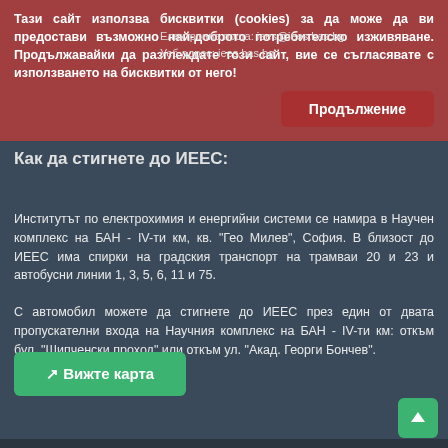Тази сайт използва бисквитки (cookies) за да може да ви предостави възможно най-доброто потребителско изживяване. Продължавайки да разглеждате този сайт, вие се съгласявате с използването на бисквитки от него!
Електронна поща: iees@iees.bas.bg
Уеб адрес: iees.bas.bg
Продължение
Как да стигнете до ИЕЕС:
Институтът по електрохимия и енергийни системи се намира в Научен комплекс на БАН - IV-ти км, кв. "Гео Милев", София. В близост до ИЕЕС има спирки на градския транспорт на трамваи 20 и 23 и автобусни линии 1, 3, 5, 6, 11 и 75.
С автомобил можете да стигнете до ИЕЕС през един от двата пропускателни входа на Научния комплекс на БАН - IV-ти км: откъм бул. "Шипченски проход" или откъм ул. "Акад. Георги Бончев".
↗ Вижте карта